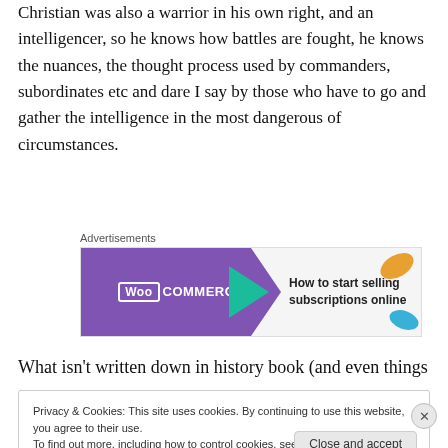Christian was also a warrior in his own right, and an intelligencer, so he knows how battles are fought, he knows the nuances, the thought process used by commanders, subordinates etc and dare I say by those who have to go and gather the intelligence in the most dangerous of circumstances.
[Figure (other): WooCommerce advertisement banner: purple background on left with WooCommerce logo and arrow shape, right side with text 'How to start selling subscriptions online' and decorative colored leaf shapes]
What isn't written down in history book (and even things
Privacy & Cookies: This site uses cookies. By continuing to use this website, you agree to their use.
To find out more, including how to control cookies, see here: Cookie Policy